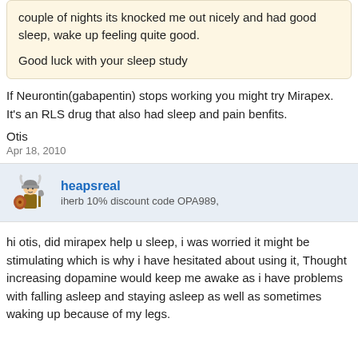couple of nights its knocked me out nicely and had good sleep, wake up feeling quite good.

Good luck with your sleep study
If Neurontin(gabapentin) stops working you might try Mirapex. It's an RLS drug that also had sleep and pain benfits.
Otis
Apr 18, 2010
heapsreal
iherb 10% discount code OPA989,
hi otis, did mirapex help u sleep, i was worried it might be stimulating which is why i have hesitated about using it, Thought increasing dopamine would keep me awake as i have problems with falling asleep and staying asleep as well as sometimes waking up because of my legs.